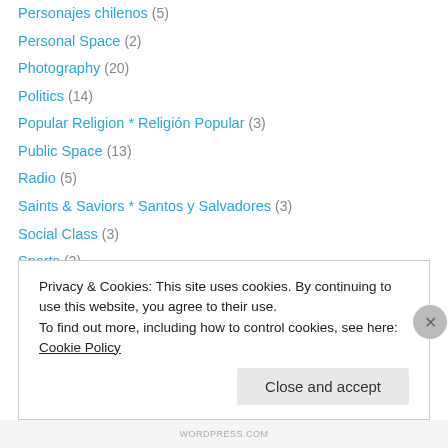Personajes chilenos (5)
Personal Space (2)
Photography (20)
Politics (14)
Popular Religion * Religión Popular (3)
Public Space (13)
Radio (5)
Saints & Saviors * Santos y Salvadores (3)
Social Class (3)
Sports (2)
Street Art * Arte Callejero (8)
Street Foods * Comidas Callejeras (4)
Student LIfe (1)
Transportation (11)
Privacy & Cookies: This site uses cookies. By continuing to use this website, you agree to their use. To find out more, including how to control cookies, see here: Cookie Policy
Close and accept